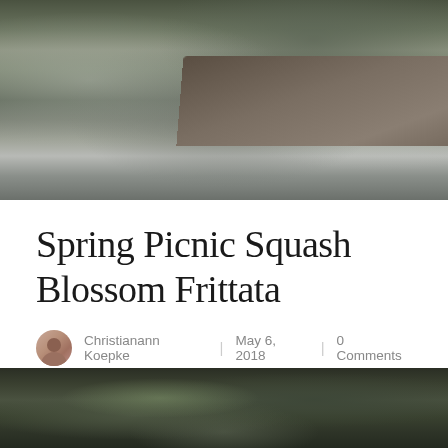[Figure (photo): Outdoor forest picnic scene with a low wooden table covered with bowls of food, flowers, glasses, and surrounded by grey linen blankets and pink fabric draped over the table edge]
Spring Picnic Squash Blossom Frittata
Christianann Koepke | May 6, 2018 | 0 Comments
[Figure (photo): Dark moody forest floor scene with mossy branches and trees in the background]